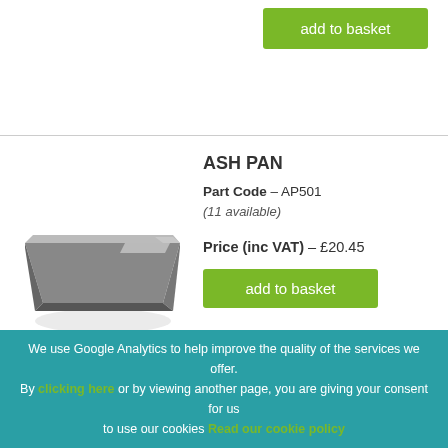Price (inc VAT) - £20.45 (partial, top, previous product)
[Figure (photo): Metal ash pan, flat tray with raised edges and shiny finish, viewed at an angle]
ASH PAN
Part Code - AP501
(11 available)
Price (inc VAT) - £20.45
add to basket
[Figure (photo): Metal ash pan, rectangular tray viewed from slight angle]
ASH PAN
Part Code - AP502
(29 available)
Price (inc VAT) - £18.15
We use Google Analytics to help improve the quality of the services we offer. By clicking here or by viewing another page, you are giving your consent for us to use our cookies Read our cookie policy